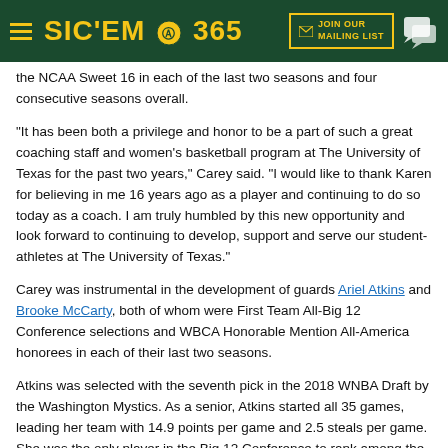SIC'EM 365 — JOIN OUR MAILING LIST
the NCAA Sweet 16 in each of the last two seasons and four consecutive seasons overall.
"It has been both a privilege and honor to be a part of such a great coaching staff and women's basketball program at The University of Texas for the past two years," Carey said. "I would like to thank Karen for believing in me 16 years ago as a player and continuing to do so today as a coach. I am truly humbled by this new opportunity and look forward to continuing to develop, support and serve our student-athletes at The University of Texas."
Carey was instrumental in the development of guards Ariel Atkins and Brooke McCarty, both of whom were First Team All-Big 12 Conference selections and WBCA Honorable Mention All-America honorees in each of their last two seasons.
Atkins was selected with the seventh pick in the 2018 WNBA Draft by the Washington Mystics. As a senior, Atkins started all 35 games, leading her team with 14.9 points per game and 2.5 steals per game. She was the only player in the Big 12 Conference to rank among the league's top-20 in the eight statistical categories of points per game, rebounds per game, assists per game, steals per game, assist-to-turnover ratio, field-goal percentage, three-point field-goal percentage